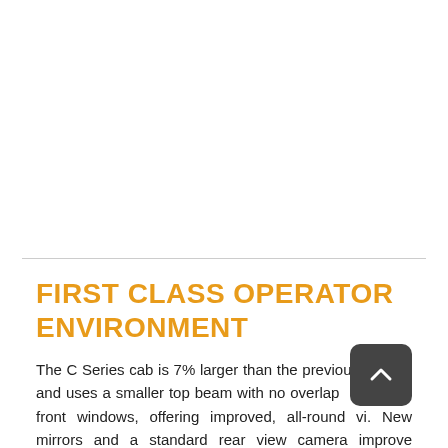FIRST CLASS OPERATOR ENVIRONMENT
The C Series cab is 7% larger than the previous models and uses a smaller top beam with no overlap between front windows, offering improved, all-round visibility. New mirrors and a standard rear view camera improve visibility